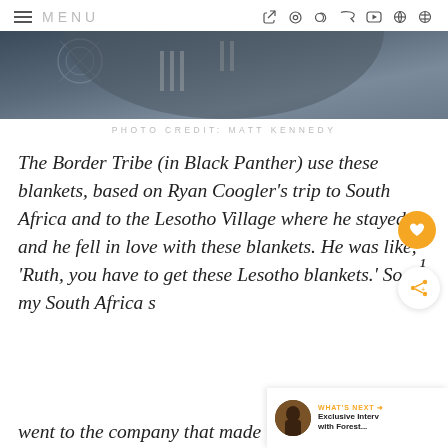≡ MENU
[Figure (photo): Close-up photo of a person wearing a dark patterned blanket, outdoors with blurred background]
PHOTO CREDIT: MATT KENNEDY
The Border Tribe (in Black Panther) use these blankets, based on Ryan Coogler's trip to South Africa and to the Lesotho Village where he stayed — and he fell in love with these blankets. He was like, 'Ruth, you have to get these Lesotho blankets.' So, my South Africa sourcing went to the company that made them